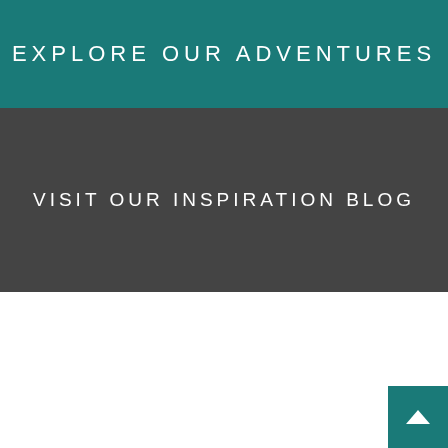EXPLORE OUR ADVENTURES
VISIT OUR INSPIRATION BLOG
[Figure (other): Back to top button with upward arrow in teal color, positioned at bottom right corner]